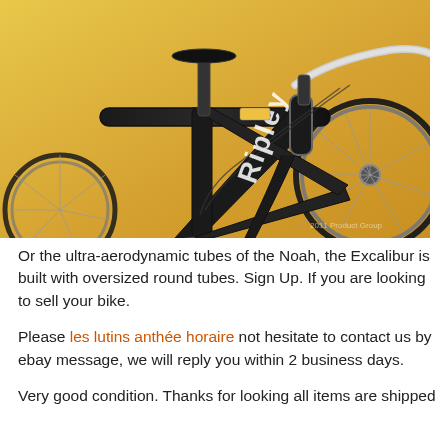[Figure (photo): Close-up photo of a Ripley brand road bicycle with a black frame, aerodynamic tubes, and drop handlebars, set against a yellow/golden background. The bike shows the front fork, handlebars, top tube, down tube, and rear wheel spokes. The brand name 'Ripley' is visible on the frame.]
Or the ultra-aerodynamic tubes of the Noah, the Excalibur is built with oversized round tubes. Sign Up. If you are looking to sell your bike.
Please les lutins anthée horaire not hesitate to contact us by ebay message, we will reply you within 2 business days.
Very good condition. Thanks for looking all items are shipped